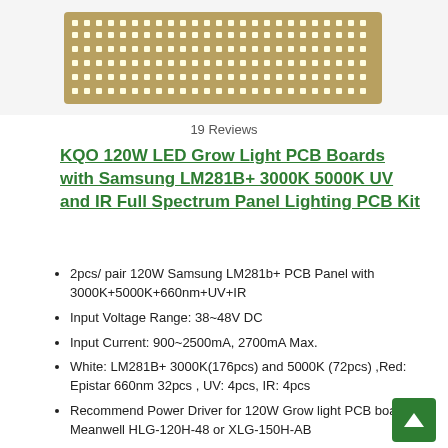[Figure (photo): Partial image of LED grow light PCB board showing rows of LED chips on a rectangular panel]
19 Reviews
KQO 120W LED Grow Light PCB Boards with Samsung LM281B+ 3000K 5000K UV and IR Full Spectrum Panel Lighting PCB Kit
2pcs/ pair 120W Samsung LM281b+ PCB Panel with 3000K+5000K+660nm+UV+IR
Input Voltage Range: 38~48V DC
Input Current: 900~2500mA, 2700mA Max.
White: LM281B+ 3000K(176pcs) and 5000K (72pcs) ,Red: Epistar 660nm 32pcs , UV: 4pcs, IR: 4pcs
Recommend Power Driver for 120W Grow light PCB board - Meanwell HLG-120H-48 or XLG-150H-AB